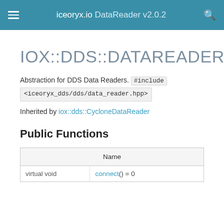iceoryx.io DataReader v2.0.2
IOX::DDS::DATAREADER
Abstraction for DDS Data Readers. #include <iceoryx_dds/dds/data_reader.hpp>
Inherited by iox::dds::CycloneDataReader
Public Functions
| Name |
| --- |
| virtual void | connect() = 0 |